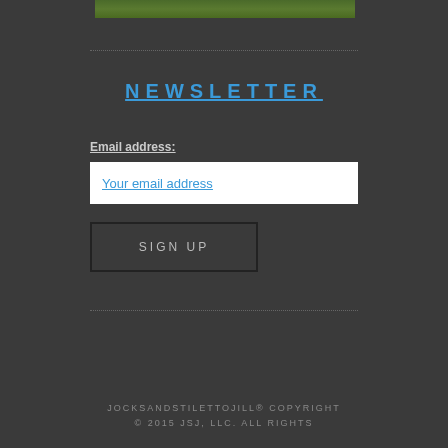[Figure (photo): Partial view of a grassy outdoor photo strip at the top of the page]
NEWSLETTER
Email address:
Your email address
SIGN UP
JOCKSANDSTILETTOJILL® COPYRIGHT © 2015 JSJ, LLC. ALL RIGHTS